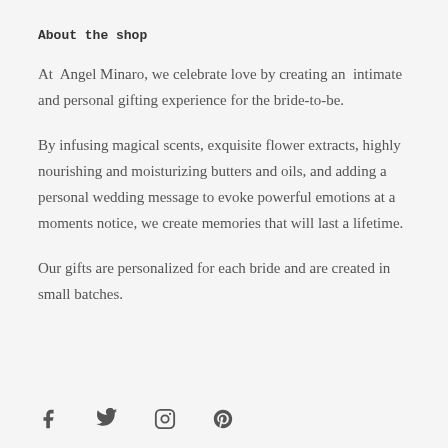About the shop
At  Angel Minaro, we celebrate love by creating an  intimate and personal gifting experience for the bride-to-be.
By infusing magical scents, exquisite flower extracts, highly nourishing and moisturizing butters and oils, and adding a personal wedding message to evoke powerful emotions at a moments notice, we create memories that will last a lifetime.
Our gifts are personalized for each bride and are created in small batches.
[Figure (illustration): Social media icons: Facebook, Twitter, Instagram, Pinterest]